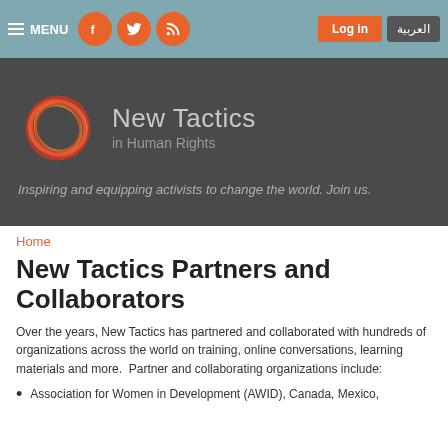MENU | Facebook | Twitter | RSS | Log in | العربية
[Figure (logo): New Tactics in Human Rights logo — circular swirl in red, orange and yellow on dark grey background with tagline: Inspiring and equipping activists to change the world. Join us.]
Home
New Tactics Partners and Collaborators
Over the years, New Tactics has partnered and collaborated with hundreds of organizations across the world on training, online conversations, learning materials and more.  Partner and collaborating organizations include:
Association for Women in Development (AWID), Canada, Mexico,